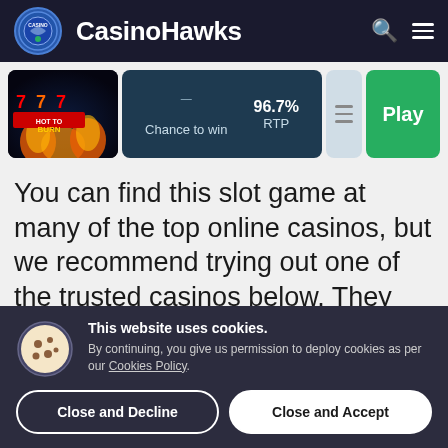CasinoHawks
[Figure (screenshot): Hot to Burn slot game thumbnail with 7s and flames]
Chance to win  96.7% RTP
You can find this slot game at many of the top online casinos, but we recommend trying out one of the trusted casinos below. They offer very enticing welcome bonuses that are hard to beat.
This website uses cookies. By continuing, you give us permission to deploy cookies as per our Cookies Policy.